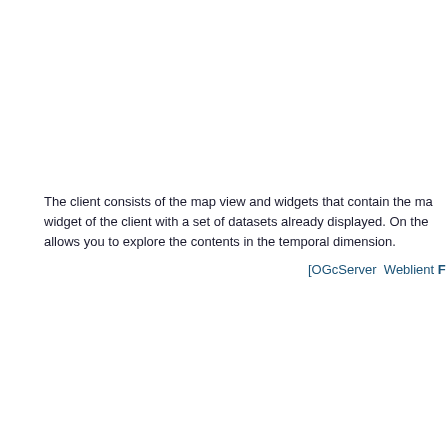The client consists of the map view and widgets that contain the map widget of the client with a set of datasets already displayed. On the allows you to explore the contents in the temporal dimension.
[OGCServer Weblient F...